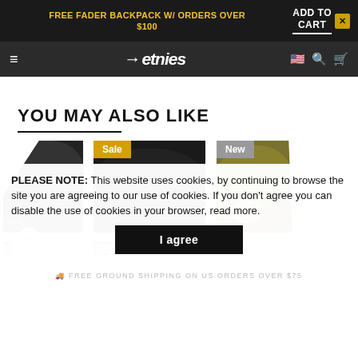FREE FADER BACKPACK W/ ORDERS OVER $100 | ADD TO CART ✕
≡  ←etnies  🇺🇸 🔍 🛒
YOU MAY ALSO LIKE
[Figure (photo): Three beanie hat products displayed in a horizontal row. Left: partial dark hat (cropped). Center: dark/black beanie with 'Sale' badge. Right: olive/tan beanie with 'New' badge. Product names and prices partially visible: WAREHOUSE BEANIE $13.99, CABRI BEA $24]
PLEASE NOTE: This website uses cookies, by continuing to browse the site you are agreeing to our use of cookies. If you don't agree you can disable the use of cookies in your browser, read more.
I agree
FREE GROUND SHIPPING ON US ORDERS OVER $75